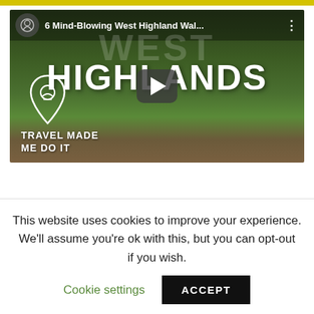[Figure (screenshot): YouTube video thumbnail showing 'WEST HIGHLANDS' text over a green Scottish highland landscape with two hikers. Top bar shows channel icon and title '6 Mind-Blowing West Highland Wal...' with three-dot menu. A play button is centered. Bottom left shows a map pin icon and brand text 'TRAVEL MADE ME DO IT'.]
This website uses cookies to improve your experience. We'll assume you're ok with this, but you can opt-out if you wish. Cookie settings ACCEPT